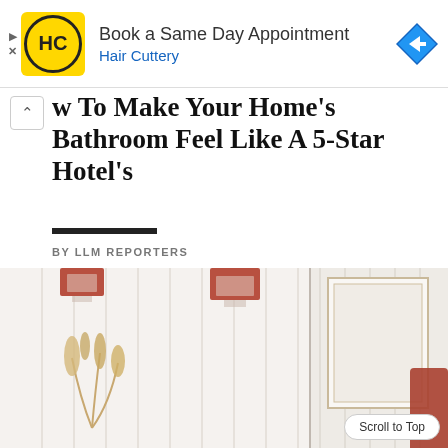[Figure (other): Hair Cuttery advertisement banner with yellow logo, text 'Book a Same Day Appointment' and 'Hair Cuttery', and a blue diamond navigation arrow icon on the right]
w To Make Your Home's Bathroom Feel Like A 5-Star Hotel's
BY LLM REPORTERS
[Figure (photo): Interior design photo showing a modern dining room with terracotta/rust colored pendant lights, a white vase with dried pampas grass, white vertical panel walls, a framed art piece, and rust-colored upholstered chairs around a white table]